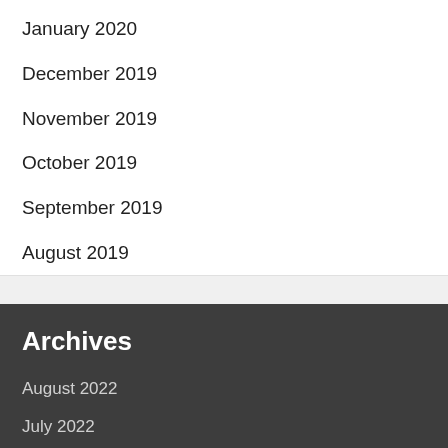January 2020
December 2019
November 2019
October 2019
September 2019
August 2019
Archives
August 2022
July 2022